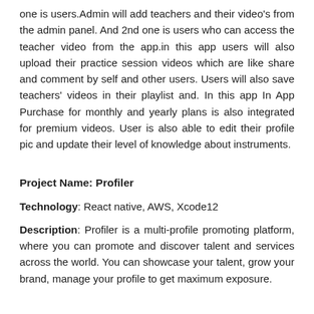one is users.Admin will add teachers and their video's from the admin panel. And 2nd one is users who can access the teacher video from the app.in this app users will also upload their practice session videos which are like share and comment by self and other users. Users will also save teachers' videos in their playlist and. In this app In App Purchase for monthly and yearly plans is also integrated for premium videos. User is also able to edit their profile pic and update their level of knowledge about instruments.
Project Name: Profiler
Technology: React native, AWS, Xcode12
Description: Profiler is a multi-profile promoting platform, where you can promote and discover talent and services across the world. You can showcase your talent, grow your brand, manage your profile to get maximum exposure.
Project Name: Lancewlliste